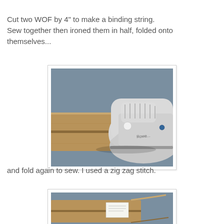Cut two WOF by 4" to make a binding string. Sew together then ironed them in half, folded onto themselves...
[Figure (photo): A clothes iron (Rowe brand) pressing down on a folded strip of brown/tan fabric on a blue-grey surface. The fabric strip is being ironed in half.]
and fold again to sew. I used a zig zag stitch.
[Figure (photo): A partially visible photo showing a folded fabric strip with what appears to be a label or tag, on a blue-grey background.]